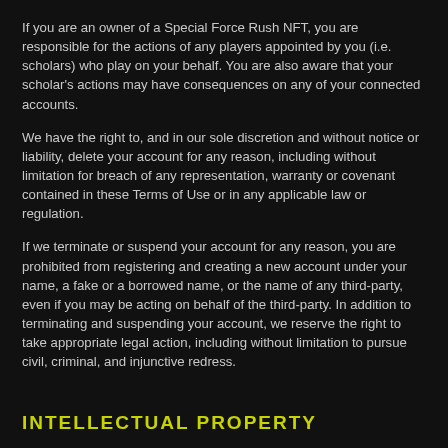If you are an owner of a Special Force Rush NFT, you are responsible for the actions of any players appointed by you (i.e. scholars) who play on your behalf. You are also aware that your scholar's actions may have consequences on any of your connected accounts.
We have the right to, and in our sole discretion and without notice or liability, delete your account for any reason, including without limitation for breach of any representation, warranty or covenant contained in these Terms of Use or in any applicable law or regulation.
If we terminate or suspend your account for any reason, you are prohibited from registering and creating a new account under your name, a fake or a borrowed name, or the name of any third-party, even if you may be acting on behalf of the third-party. In addition to terminating and suspending your account, we reserve the right to take appropriate legal action, including without limitation to pursue civil, criminal, and injunctive redress.
INTELLECTUAL PROPERTY